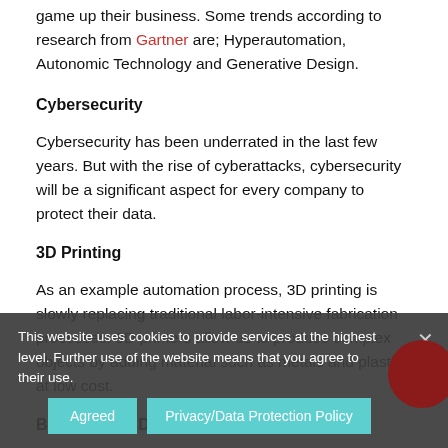game up their business. Some trends according to research from Gartner are; Hyperautomation, Autonomic Technology and Generative Design.
Cybersecurity
Cybersecurity has been underrated in the last few years. But with the rise of cyberattacks, cybersecurity will be a significant aspect for every company to protect their data.
3D Printing
As an example automation process, 3D printing is slowly replacing traditional labor-intensive fabrication processes. 3D printers allow us to produce complex objects by adding material such as metals and plastics at low cost.
Big Data and Data Analytics
The amount of digital data is quite immense, especially if you
This website uses cookies to provide services at the highest level. Further use of the website means that you agree to their use.